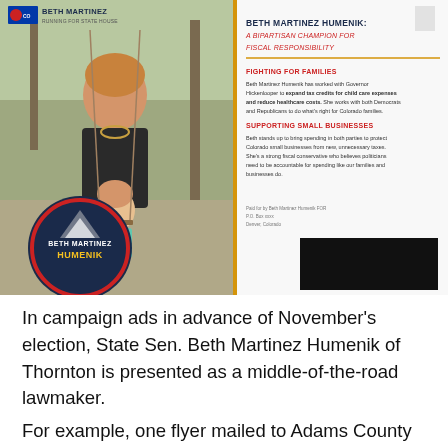[Figure (photo): Campaign mailer photo for Beth Martinez Humenik showing a woman and child on a swing, with text 'BETH MARTINEZ HUMENIK: A BIPARTISAN CHAMPION FOR FISCAL RESPONSIBILITY', sections on Fighting for Families and Supporting Small Businesses, and a campaign logo badge in the lower left.]
In campaign ads in advance of November's election, State Sen. Beth Martinez Humenik of Thornton is presented as a middle-of-the-road lawmaker.
For example, one flyer mailed to Adams County voters